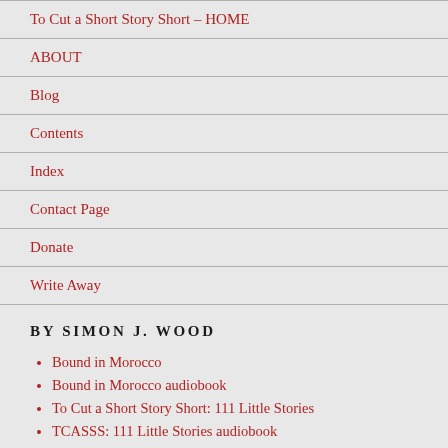To Cut a Short Story Short – HOME
ABOUT
Blog
Contents
Index
Contact Page
Donate
Write Away
BY SIMON J. WOOD
Bound in Morocco
Bound in Morocco audiobook
To Cut a Short Story Short: 111 Little Stories
TCASSS: 111 Little Stories audiobook